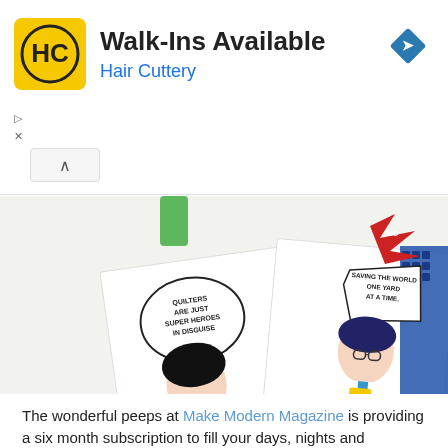[Figure (logo): Hair Cuttery advertisement banner with HC logo, 'Walk-Ins Available' title, and blue arrow navigation icon]
[Figure (photo): Comic book style pop art fabric or tote bags featuring superhero characters. Left: a woman saying 'QUILTERS ARE JUST SUPER HEROES IN DISGUISE'. Right: a Superman-like figure saying 'SAVING THE WORLD ONE YARD AT A TIME.' MODA Lil' Super Heroes fabric branding visible.]
The wonderful peeps at Make Modern Magazine is providing a six month subscription to fill your days, nights and weekends with loads of inspiration!!!!